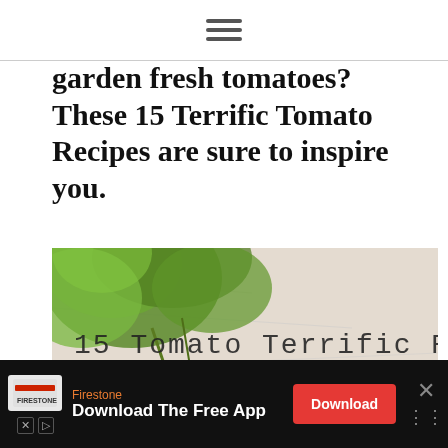[hamburger menu icon]
garden fresh tomatoes? These 15 Terrific Tomato Recipes are sure to inspire you.
[Figure (photo): Photo of a bowl of fresh tomatoes including cherry tomatoes with herbs, with text overlay reading '15 Tomato Terrific Recipes' in handwritten-style font. Teal heart button and share button visible on right side.]
Firestone
Download The Free App
Firestone Download The Free App [Download button] [X close button]